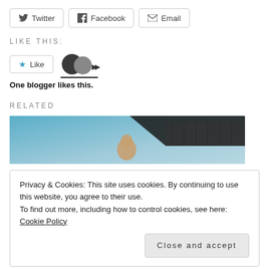[Figure (other): Share buttons row: Twitter, Facebook, Email]
LIKE THIS:
[Figure (other): Like button widget with star icon and avatar strip showing 'One blogger likes this.']
One blogger likes this.
RELATED
[Figure (photo): Photo showing a person outdoors against a blue sky and a corrugated metal wall/roof]
Privacy & Cookies: This site uses cookies. By continuing to use this website, you agree to their use.
To find out more, including how to control cookies, see here:
Cookie Policy
Close and accept